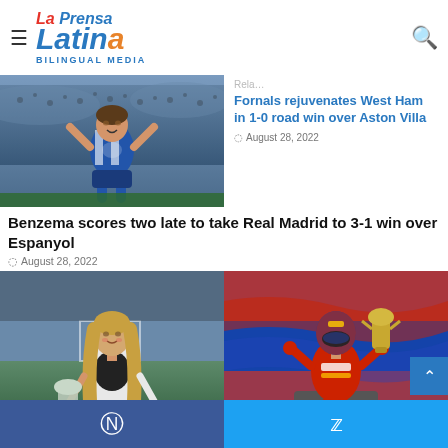La Prensa Latina Bilingual Media
[Figure (photo): Soccer player in blue and white Espanyol kit celebrating with arms raised, crowd in background]
[Figure (photo): Partially visible top of image related to West Ham news]
Fornals rejuvenates West Ham in 1-0 road win over Aston Villa
August 28, 2022
Benzema scores two late to take Real Madrid to 3-1 win over Espanyol
August 28, 2022
[Figure (photo): Woman in white blazer holding a trophy on a soccer field]
[Figure (photo): F1 driver in Oracle Red Bull racing suit holding trophy on podium with colorful flags in background]
Facebook | Twitter